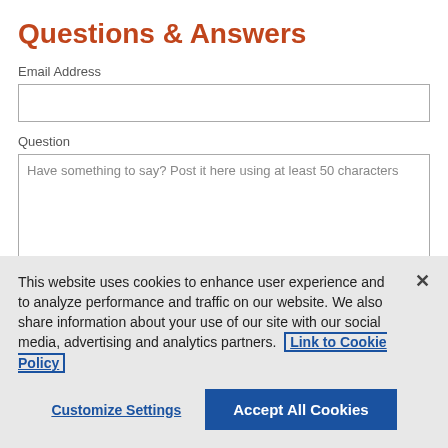Questions & Answers
Email Address
Question
Have something to say? Post it here using at least 50 characters
By clicking “I agree”, I’m agreeing to this website’s Community Rules
This website uses cookies to enhance user experience and to analyze performance and traffic on our website. We also share information about your use of our site with our social media, advertising and analytics partners. Link to Cookie Policy
Customize Settings
Accept All Cookies